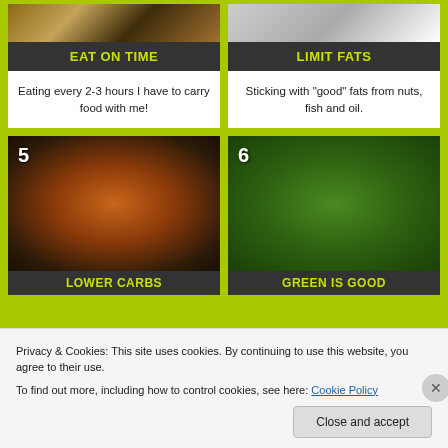[Figure (photo): Photo of food items - card 3 'Eat on Time']
EAT ON TIME
Eating every 2-3 hours I have to carry food with me!
[Figure (photo): Photo of food items - card 4 'Limit Fats']
LIMIT FATS
Sticking with "good" fats from nuts, fish and oil.
[Figure (photo): Photo of baked pastry/waffle food - card 5 'Lower Carbs']
LOWER CARBS
[Figure (photo): Photo of green beans - card 6 'Green Is Good']
GREEN IS GOOD
Privacy & Cookies: This site uses cookies. By continuing to use this website, you agree to their use.
To find out more, including how to control cookies, see here: Cookie Policy
Close and accept